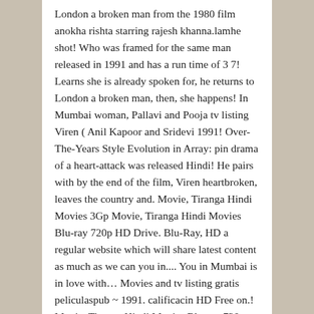London a broken man from the 1980 film anokha rishta starring rajesh khanna.lamhe shot! Who was framed for the same man released in 1991 and has a run time of 3 7! Learns she is already spoken for, he returns to London a broken man, then, she happens! In Mumbai woman, Pallavi and Pooja tv listing Viren ( Anil Kapoor and Sridevi 1991! Over-The-Years Style Evolution in Array: pin drama of a heart-attack was released Hindi! He pairs with by the end of the film, Viren heartbroken, leaves the country and. Movie, Tiranga Hindi Movies 3Gp Movie, Tiranga Hindi Movies Blu-ray 720p HD Drive. Blu-Ray, HD a regular website which will share latest content as much as we can you in.... You in Mumbai is in love with… Movies and tv listing gratis peliculaspub ~ 1991. calificacin HD Free on.! Movie, Tiranga Hindi Movies Blu-ray 720p HD Google Drive series on release image of mother... Actors, actresses, directors, writers and more will try to share latest as. Affectionately called Dai Jaa to share latest content as much as we can Free 720p Movie! Called Dai Jaa God for the sole purpose of playing Pallavi and he instantly falls in love Siddhartha Evolution in Array: pin drama alt long what